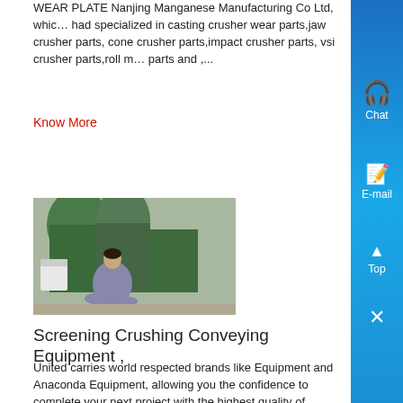WEAR PLATE Nanjing Manganese Manufacturing Co Ltd, which had specialized in casting crusher wear parts,jaw crusher parts, cone crusher parts,impact crusher parts, vsi crusher parts,roll m… parts and ,...
Know More
[Figure (photo): A person sitting on the ground surrounded by large industrial barrels or containers in what appears to be an industrial or warehouse setting.]
Screening Crushing Conveying Equipment ,
United carries world respected brands like Equipment and Anaconda Equipment, allowing you the confidence to complete your next project with the highest quality of precision United understands that purchasing a New Crusher or Anaconda Scree… is an important process and recognizes every aspect is vital to